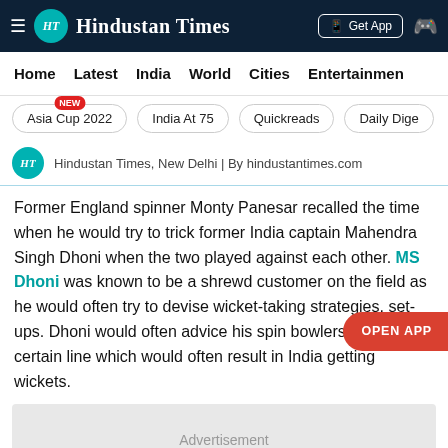≡ HT Hindustan Times | Get App
Home  Latest  India  World  Cities  Entertainment
Asia Cup 2022 NEW  India At 75  Quickreads  Daily Dige
Hindustan Times, New Delhi | By hindustantimes.com
Former England spinner Monty Panesar recalled the time when he would try to trick former India captain Mahendra Singh Dhoni when the two played against each other. MS Dhoni was known to be a shrewd customer on the field as he would often try to devise wicket-taking strategies, set-ups. Dhoni would often advice his spin bowlers to bowl a certain line which would often result in India getting wickets.
Advertisement